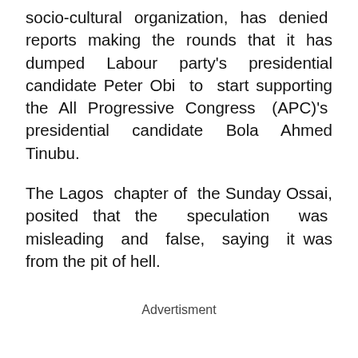socio-cultural organization, has denied reports making the rounds that it has dumped Labour party's presidential candidate Peter Obi to start supporting the All Progressive Congress (APC)'s presidential candidate Bola Ahmed Tinubu.
The Lagos chapter of the Sunday Ossai, posited that the speculation was misleading and false, saying it was from the pit of hell.
Advertisment